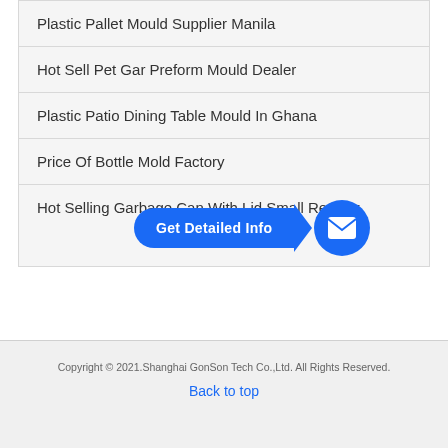Plastic Pallet Mould Supplier Manila
Hot Sell Pet Gar Preform Mould Dealer
Plastic Patio Dining Table Mould In Ghana
Price Of Bottle Mold Factory
Hot Selling Garbage Can With Lid Small Retailer
[Figure (other): Blue 'Get Detailed Info' call-to-action button with arrow and email icon circle overlay]
Copyright © 2021.Shanghai GonSon Tech Co.,Ltd. All Rights Reserved.
Back to top